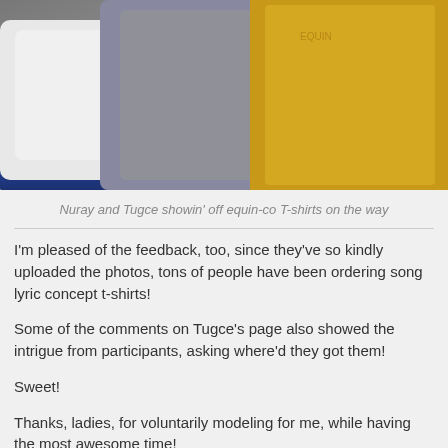[Figure (photo): Two people wearing t-shirts (one gray, one yellow/mustard) on what appears to be a boat, with water visible in the background]
Nuray and Tugce showin' off equin-co T-shirts on the way
I'm pleased of the feedback, too, since they've so kindly uploaded the photos, tons of people have been ordering song lyric concept t-shirts!
Some of the comments on Tugce's page also showed the intrigue from participants, asking where'd they got them!
Sweet!
Thanks, ladies, for voluntarily modeling for me, while having the most awesome time!